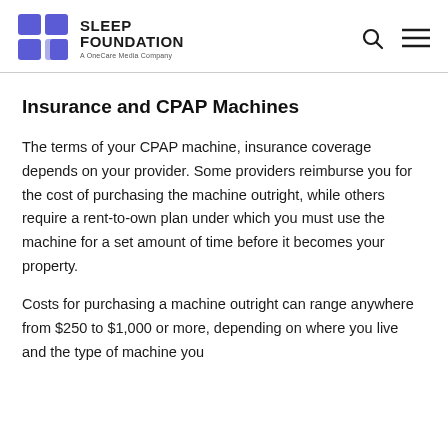Sleep Foundation — A OneCare Media Company
Insurance and CPAP Machines
The terms of your CPAP machine, insurance coverage depends on your provider. Some providers reimburse you for the cost of purchasing the machine outright, while others require a rent-to-own plan under which you must use the machine for a set amount of time before it becomes your property.
Costs for purchasing a machine outright can range anywhere from $250 to $1,000 or more, depending on where you live and the type of machine you